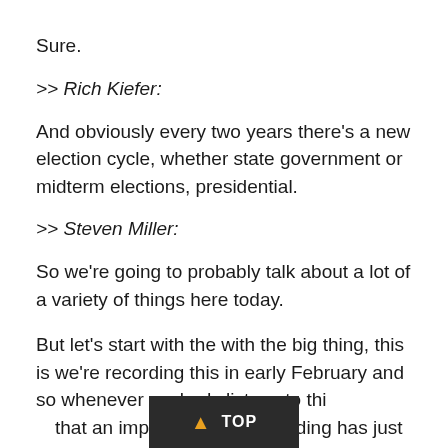Sure.
>> Rich Kiefer:
And obviously every two years there's a new election cycle, whether state government or midterm elections, presidential.
>> Steven Miller:
So we're going to probably talk about a lot of a variety of things here today.
But let's start with the with the big thing, this is we're recording this in early February and so whenever anybody listens to this, the fact is that an impeachment proceeding has just e